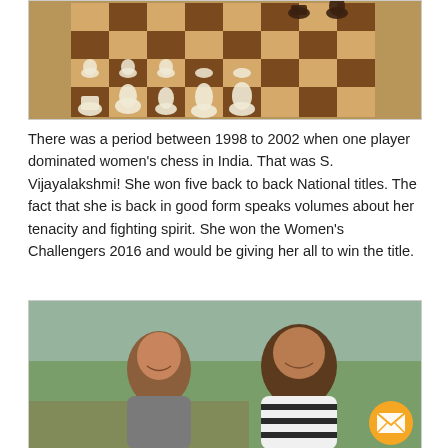[Figure (photo): A chess board with pieces set up during a game, viewed from white side, with wooden board and pieces.]
There was a period between 1998 to 2002 when one player dominated women's chess in India. That was S. Vijayalakshmi! She won five back to back National titles. The fact that she is back in good form speaks volumes about her tenacity and fighting spirit. She won the Women's Challengers 2016 and would be giving her all to win the title.
[Figure (photo): Two people, a woman and a man, smiling and posing together outdoors, with an orange email/envelope button overlay in the bottom right corner.]